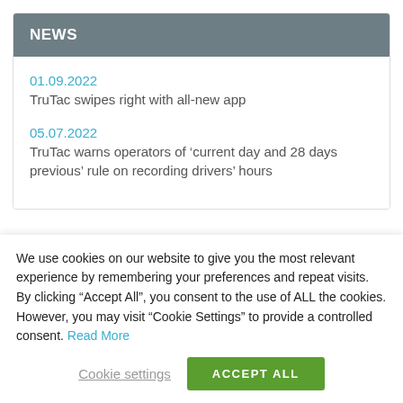NEWS
01.09.2022
TruTac swipes right with all-new app
05.07.2022
TruTac warns operators of ‘current day and 28 days previous’ rule on recording drivers’ hours
We use cookies on our website to give you the most relevant experience by remembering your preferences and repeat visits. By clicking “Accept All”, you consent to the use of ALL the cookies. However, you may visit “Cookie Settings” to provide a controlled consent. Read More
Cookie settings
ACCEPT ALL